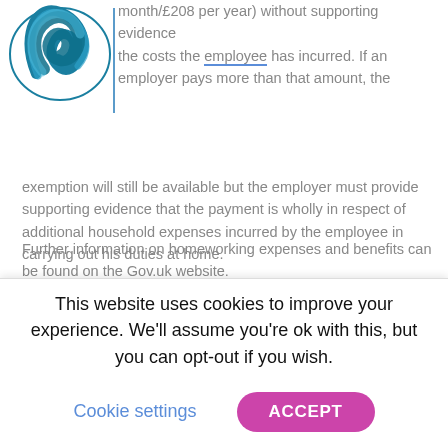[Figure (logo): Circular blue and teal logo (stylized W shape) in top-left corner]
month/£208 per year) without supporting evidence the costs the employee has incurred. If an employer pays more than that amount, the exemption will still be available but the employer must provide supporting evidence that the payment is wholly in respect of additional household expenses incurred by the employee in carrying out his duties at home.
Further information on homeworking expenses and benefits can be found on the Gov.uk website.
October questions and
This website uses cookies to improve your experience. We'll assume you're ok with this, but you can opt-out if you wish.